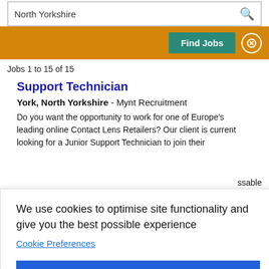North Yorkshire
Find Jobs
Jobs 1 to 15 of 15
Support Technician
York, North Yorkshire - Mynt Recruitment
Do you want the opportunity to work for one of Europe's leading online Contact Lens Retailers? Our client is current looking for a Junior Support Technician to join their
ssable
k that
We use cookies to optimise site functionality and give you the best possible experience
Cookie Preferences
Accept
neer
York, North Yorkshire - TalentSpa